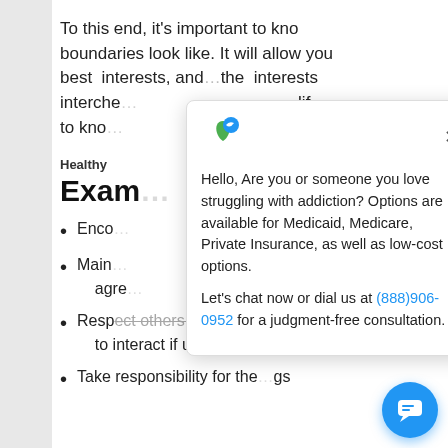To this end, it's important to know what boundaries look like. It will allow you to best interests, and the interests interchangeable... life to know... un
Healthy
Exam... ri
Enco... its
Main... eli agre... on
Respect others and require that to interact if unable to m... hos
Take responsibility for the... gs
[Figure (screenshot): Chat popup widget with logo (green leaf/person icon), close button, message about addiction help, Medicaid/Medicare/Private Insurance options, phone number (888)906-0952, and chat bubble button in bottom right corner]